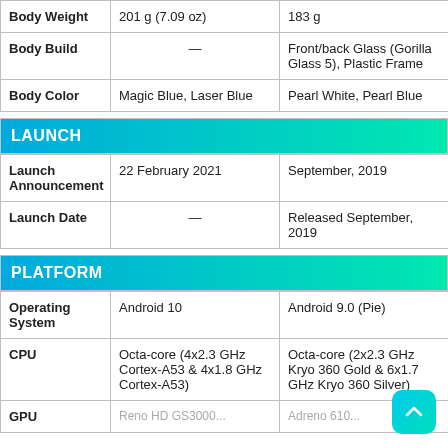|  | Phone A | Phone B |
| --- | --- | --- |
| Body Weight | 201 g (7.09 oz) | 183 g |
| Body Build | — | Front/back Glass (Gorilla Glass 5), Plastic Frame |
| Body Color | Magic Blue, Laser Blue | Pearl White, Pearl Blue |
LAUNCH
|  |  |  |
| --- | --- | --- |
| Launch Announcement | 22 February 2021 | September, 2019 |
| Launch Date | — | Released September, 2019 |
PLATFORM
|  |  |  |
| --- | --- | --- |
| Operating System | Android 10 | Android 9.0 (Pie) |
| CPU | Octa-core (4x2.3 GHz Cortex-A53 & 4x1.8 GHz Cortex-A53) | Octa-core (2x2.3 GHz Kryo 360 Gold & 6x1.7 GHz Kryo 360 Silver) |
| GPU | Reno HD GS3000... | Adreno 610... |